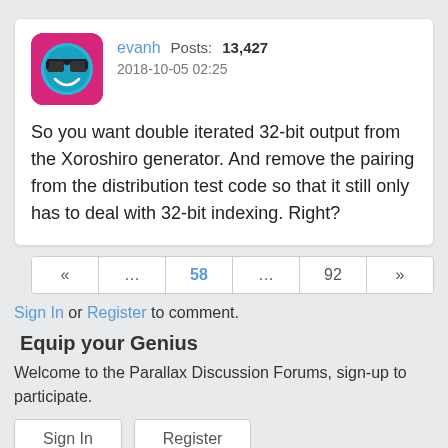evanh   Posts: 13,427
2018-10-05 02:25

So you want double iterated 32-bit output from the Xoroshiro generator. And remove the pairing from the distribution test code so that it still only has to deal with 32-bit indexing. Right?
« ... 58 ... 92 »
Sign In or Register to comment.
Equip your Genius
Welcome to the Parallax Discussion Forums, sign-up to participate.
Sign In   Register
Quick Links